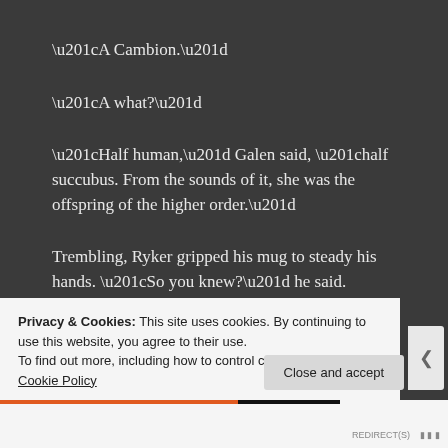“A Cambion.”
“A what?”
“Half human,” Galen said, “half succubus. From the sounds of it, she was the offspring of the higher order.”
Trembling, Ryker gripped his mug to steady his hands. “So you knew?” he said. “And you just let me…let me…”
“We only found out last night,” Rhea said. “She tried to
Privacy & Cookies: This site uses cookies. By continuing to use this website, you agree to their use.
To find out more, including how to control cookies, see here: Cookie Policy
Close and accept